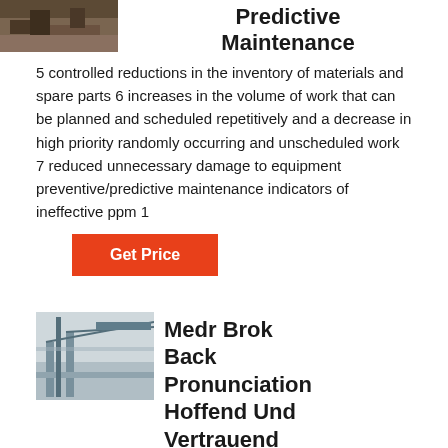[Figure (photo): Top image of industrial/construction site, dark brownish tones]
Predictive Maintenance
5 controlled reductions in the inventory of materials and spare parts 6 increases in the volume of work that can be planned and scheduled repetitively and a decrease in high priority randomly occurring and unscheduled work 7 reduced unnecessary damage to equipment preventive/predictive maintenance indicators of ineffective ppm 1
Get Price
[Figure (photo): Image of industrial conveyor or crane structure at a construction/mining site]
Medr Brok Back Pronunciation Hoffend Und Vertrauend Lied